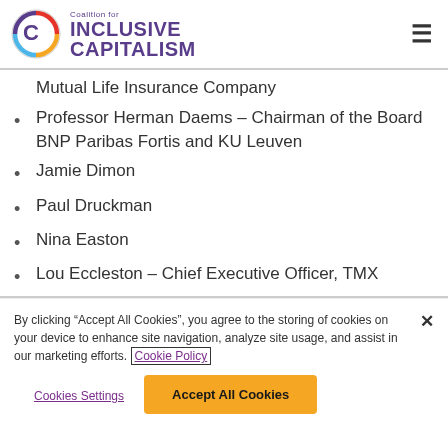Coalition for INCLUSIVE CAPITALISM
Mutual Life Insurance Company
Professor Herman Daems – Chairman of the Board BNP Paribas Fortis and KU Leuven
Jamie Dimon
Paul Druckman
Nina Easton
Lou Eccleston – Chief Executive Officer, TMX
By clicking "Accept All Cookies", you agree to the storing of cookies on your device to enhance site navigation, analyze site usage, and assist in our marketing efforts. Cookie Policy
Cookies Settings  Accept All Cookies